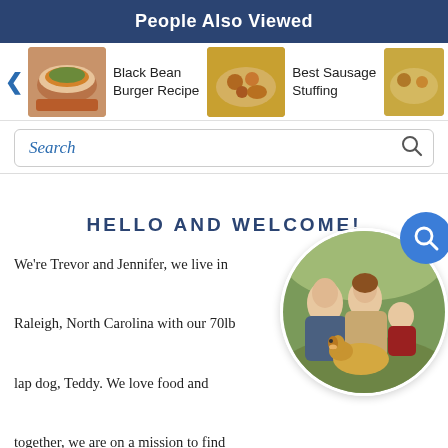People Also Viewed
[Figure (screenshot): Carousel of food recipe items: Black Bean Burger Recipe, Best Sausage Stuffing, Crock Veg Stuffing with food thumbnail images and navigation arrows]
Search
HELLO AND WELCOME!
We're Trevor and Jennifer, we live in Raleigh, North Carolina with our 70lb lap dog, Teddy. We love food and together, we are on a mission to find all things YUMMY!
[Figure (photo): Circular photo of a family (man, woman, child/baby) with a golden retriever dog, outdoors]
About Us